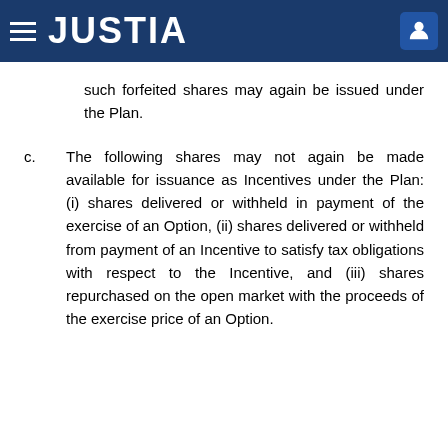JUSTIA
such forfeited shares may again be issued under the Plan.
c. The following shares may not again be made available for issuance as Incentives under the Plan: (i) shares delivered or withheld in payment of the exercise of an Option, (ii) shares delivered or withheld from payment of an Incentive to satisfy tax obligations with respect to the Incentive, and (iii) shares repurchased on the open market with the proceeds of the exercise price of an Option.